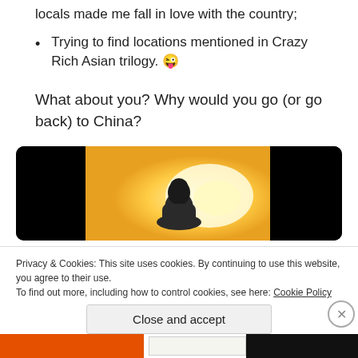locals made me fall in love with the country;
Trying to find locations mentioned in Crazy Rich Asian trilogy. 😜
What about you? Why would you go (or go back) to China?
[Figure (photo): A video embed showing a statue silhouette against a bright golden-yellow sunset sky, flanked by black letterbox bars on both sides, displayed in a dark rounded-corner frame.]
Privacy & Cookies: This site uses cookies. By continuing to use this website, you agree to their use.
To find out more, including how to control cookies, see here: Cookie Policy
Close and accept